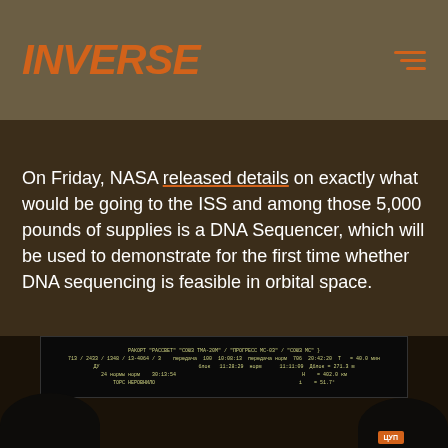INVERSE
On Friday, NASA released details on exactly what would be going to the ISS and among those 5,000 pounds of supplies is a DNA Sequencer, which will be used to demonstrate for the first time whether DNA sequencing is feasible in orbital space.
[Figure (photo): Photo of people in what appears to be a mission control room with Russian-language display screens showing flight data including text that reads as Cyrillic characters and numbers related to a space mission.]